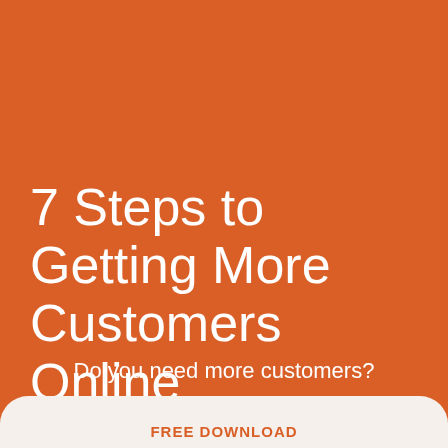7 Steps to Getting More Customers Online
Do you need more customers?
FREE DOWNLOAD